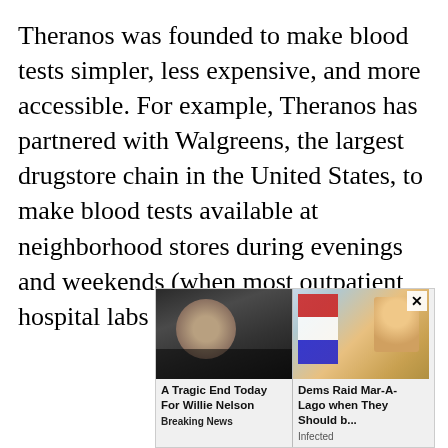Theranos was founded to make blood tests simpler, less expensive, and more accessible. For example, Theranos has partnered with Walgreens, the largest drugstore chain in the United States, to make blood tests available at neighborhood stores during evenings and weekends (when most outpatient hospital labs are closed).
[Figure (other): Advertisement widget showing two news/ad cards side by side. Left card: dark photo of an elderly person with long hair (Willie Nelson), headline 'A Tragic End Today For Willie Nelson', tag 'Breaking News'. Right card: photo of a man in suit (Trump) with American flag and gold decor background, headline 'Dems Raid Mar-A-Lago when They Should b...', tag 'Infected'. Close button (×) in upper right.]